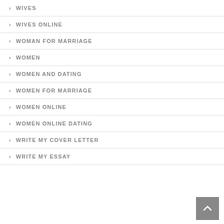WIVES
WIVES ONLINE
WOMAN FOR MARRIAGE
WOMEN
WOMEN AND DATING
WOMEN FOR MARRIAGE
WOMEN ONLINE
WOMEN ONLINE DATING
WRITE MY COVER LETTER
WRITE MY ESSAY